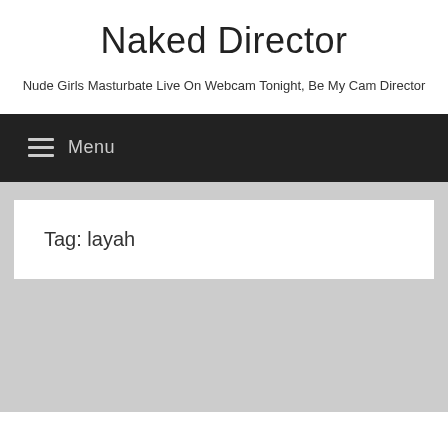Naked Director
Nude Girls Masturbate Live On Webcam Tonight, Be My Cam Director
Menu
Tag: layah